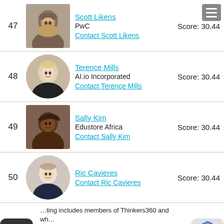47 Scott Likens | PwC | Score: 30.44 | Contact Scott Likens
48 Terence Mills | AI.io Incorporated | Score: 30.44 | Contact Terence Mills
49 Sally Kim | Edustore Africa | Score: 30.44 | Contact Sally Kim
50 Ric Cavieres | Score: 30.44 | Contact Ric Cavieres
...ting includes members of Thinkers360 and wh...d and shared their thought leadership content...including articles, blogs, books, keynotes, media